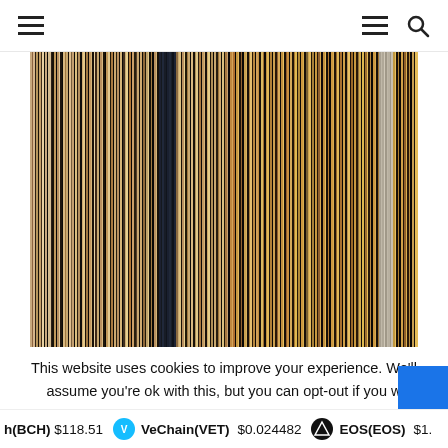Navigation header with hamburger menus and search icon
[Figure (other): Color barcode visualization — dense vertical stripes in shades of tan, brown, black, gold, and beige, representing a movie or media color palette barcode]
This website uses cookies to improve your experience. We'll assume you're ok with this, but you can opt-out if you w
h(BCH) $118.51   VeChain(VET) $0.024482   EOS(EOS) $1.